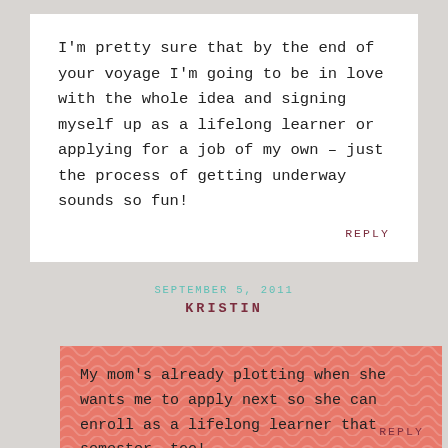I'm pretty sure that by the end of your voyage I'm going to be in love with the whole idea and signing myself up as a lifelong learner or applying for a job of my own – just the process of getting underway sounds so fun!
REPLY
SEPTEMBER 5, 2011
KRISTIN
My mom's already plotting when she wants me to apply next so she can enroll as a lifelong learner that semester, too!
REPLY